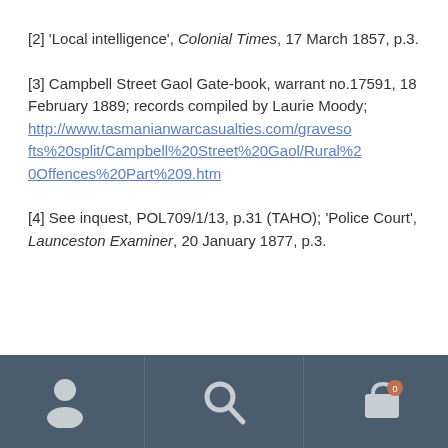[2] 'Local intelligence', Colonial Times, 17 March 1857, p.3.
[3] Campbell Street Gaol Gate-book, warrant no.17591, 18 February 1889; records compiled by Laurie Moody; http://www.tasmanianwarcasualties.com/gravesofts%20split/Campbell%20Street%20Gaol/Rural%20Offences%20Part%209.htm
[4] See inquest, POL709/1/13, p.31 (TAHO); 'Police Court', Launceston Examiner, 20 January 1877, p.3.